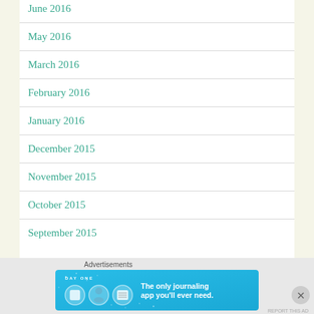June 2016
May 2016
March 2016
February 2016
January 2016
December 2015
November 2015
October 2015
September 2015
[Figure (illustration): DAY ONE journaling app advertisement banner - blue background with app icons and text 'The only journaling app you'll ever need.']
Advertisements